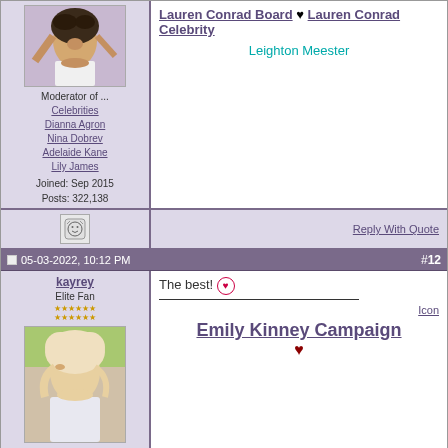[Figure (photo): Profile avatar of a dark-haired woman]
Moderator of ...
Celebrities
Dianna Agron
Nina Dobrev
Adelaide Kane
Lily James
Joined: Sep 2015
Posts: 322,138
Lauren Conrad Board ♥ Lauren Conrad Celebrity
Leighton Meester
Reply With Quote
05-03-2022, 10:12 PM #12
kayrey
Elite Fan
[Figure (photo): Profile avatar of a blonde woman outdoors]
Joined: Apr 2005
The best! Icon
Emily Kinney Campaign ♥